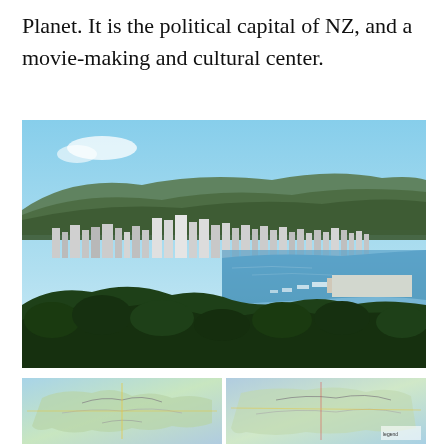Planet. It is the political capital of NZ, and a movie-making and cultural center.
[Figure (photo): Aerial panoramic view of Wellington, New Zealand, showing the city skyline, harbour with marina and pier, green hills in the background, and dense native bush in the foreground.]
[Figure (map): Map thumbnail, left side — appears to show a regional or city map.]
[Figure (map): Map thumbnail, right side — appears to show a regional or city map.]